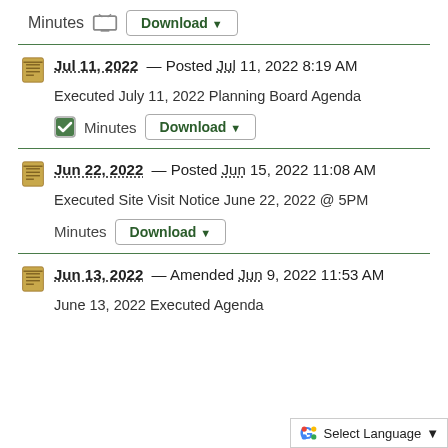Minutes  [TV icon]  Download ▼
Jul 11, 2022 — Posted Jul 11, 2022 8:19 AM
Executed July 11, 2022 Planning Board Agenda
Minutes  Download ▼
Jun 22, 2022 — Posted Jun 15, 2022 11:08 AM
Executed Site Visit Notice June 22, 2022 @ 5PM
Minutes  Download ▼
Jun 13, 2022 — Amended Jun 9, 2022 11:53 AM
June 13, 2022 Executed Agenda
Select Language ▼